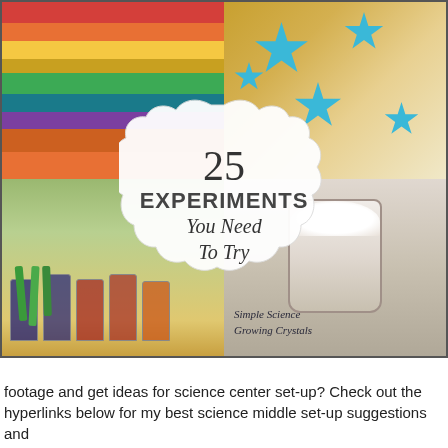[Figure (photo): Collage of 4 science experiment photos: top-left shows a layered rainbow density jar, top-right shows blue stars painted on a surface, bottom-left shows celery stalks in colored water glasses, bottom-right shows a foam/crystal growing experiment in a jar. Center overlay shows a decorative cloud-shaped badge reading '25 EXPERIMENTS You Need To Try'.]
footage and get ideas for science center set-up? Check out the hyperlinks below for my best science middle set-up suggestions and